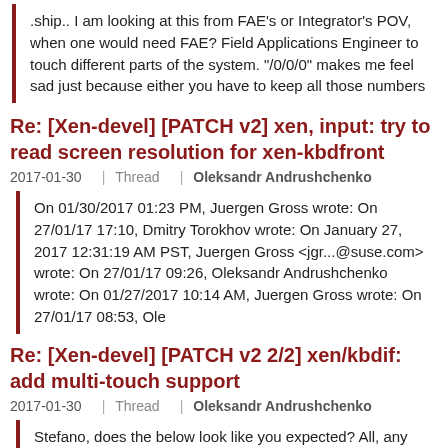.ship.. I am looking at this from FAE's or Integrator's POV, when one would need FAE? Field Applications Engineer to touch different parts of the system. "/0/0/0" makes me feel sad just because either you have to keep all those numbers
Re: [Xen-devel] [PATCH v2] xen, input: try to read screen resolution for xen-kbdfront
2017-01-30 | Thread | Oleksandr Andrushchenko
On 01/30/2017 01:23 PM, Juergen Gross wrote: On 27/01/17 17:10, Dmitry Torokhov wrote: On January 27, 2017 12:31:19 AM PST, Juergen Gross <jgr...@suse.com> wrote: On 27/01/17 09:26, Oleksandr Andrushchenko wrote: On 01/27/2017 10:14 AM, Juergen Gross wrote: On 27/01/17 08:53, Ole
Re: [Xen-devel] [PATCH v2 2/2] xen/kbdif: add multi-touch support
2017-01-30 | Thread | Oleksandr Andrushchenko
Stefano, does the below look like you expected? All, any comments/objections? Thank you, Oleksandr On 01/26/2017 09:46 AM, Oleksandr Andrushchenko wrote: From: Oleksandr Andrushchenko <oleksandr_andrushche...@epam.com> Signed-off-by: